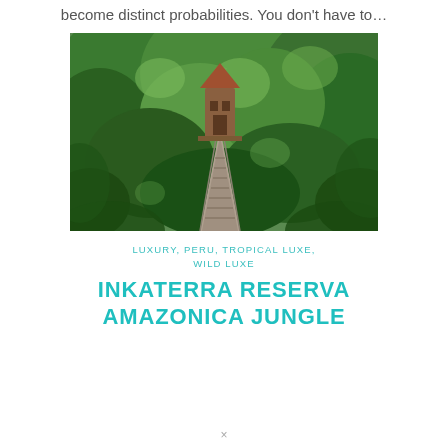become distinct probabilities. You don't have to…
[Figure (photo): A suspension bridge walkway through a lush jungle canopy, with a wooden treehouse or observation tower visible at the top of the bridge structure, surrounded by dense green tropical trees.]
LUXURY, PERU, TROPICAL LUXE, WILD LUXE
INKATERRA RESERVA AMAZONICA JUNGLE
×